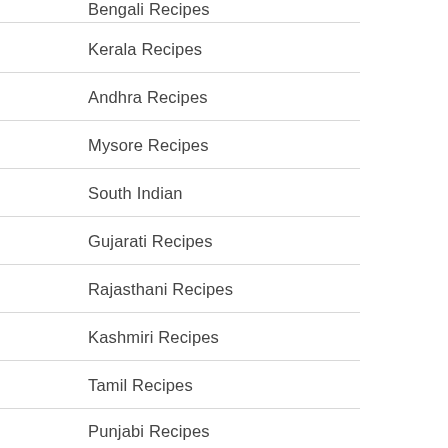Bengali Recipes
Kerala Recipes
Andhra Recipes
Mysore Recipes
South Indian
Gujarati Recipes
Rajasthani Recipes
Kashmiri Recipes
Tamil Recipes
Punjabi Recipes
Sindhi Recipes